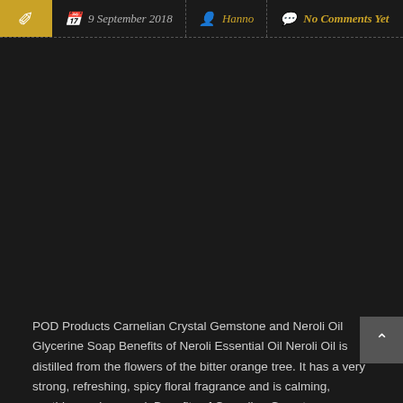9 September 2018 | Hanno | No Comments Yet
POD Products Carnelian Crystal Gemstone and Neroli Oil Glycerine Soap Benefits of Neroli Essential Oil Neroli Oil is distilled from the flowers of the bitter orange tree. It has a very strong, refreshing, spicy floral fragrance and is calming, soothing and sensual. Benefits of Carnelian Gemstone Carnelian restores vitality, motivation and stimulates creativity. It gives [...]
Continue Reading →